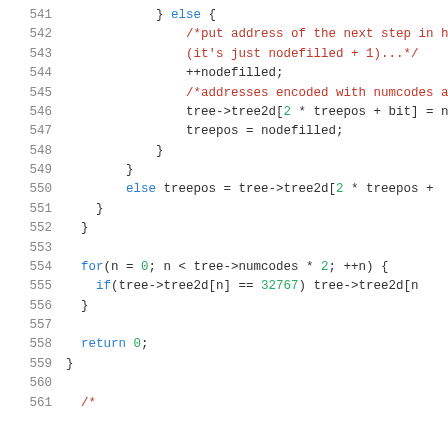[Figure (screenshot): Source code listing lines 541-561 in C, showing tree building logic with for loop and return statement. Syntax-highlighted with line numbers on the left.]